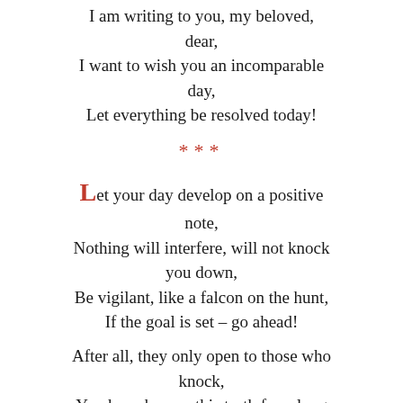I am writing to you, my beloved, dear,
I want to wish you an incomparable day,
Let everything be resolved today!
***
Let your day develop on a positive note,
Nothing will interfere, will not knock you down,
Be vigilant, like a falcon on the hunt,
If the goal is set – go ahead!
After all, they only open to those who knock,
You have known this truth for a long